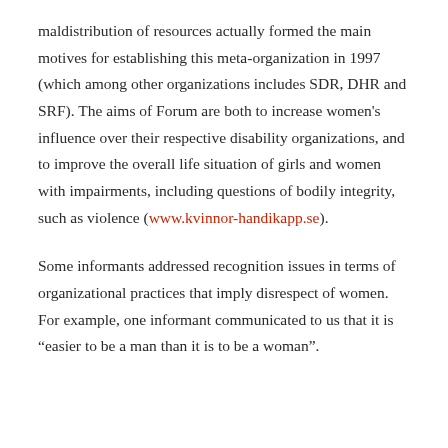maldistribution of resources actually formed the main motives for establishing this meta-organization in 1997 (which among other organizations includes SDR, DHR and SRF). The aims of Forum are both to increase women's influence over their respective disability organizations, and to improve the overall life situation of girls and women with impairments, including questions of bodily integrity, such as violence (www.kvinnor-handikapp.se).
Some informants addressed recognition issues in terms of organizational practices that imply disrespect of women. For example, one informant communicated to us that it is “easier to be a man than it is to be a woman”.